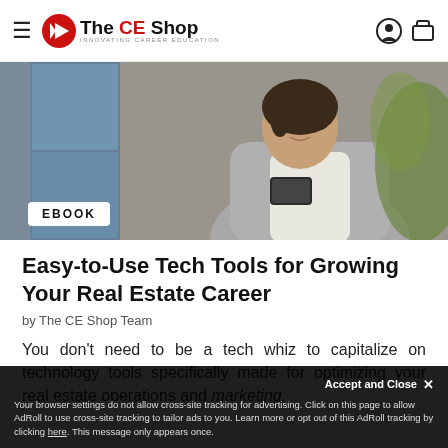The CE Shop — INNOVATING CAREER EDUCATION
[Figure (photo): Woman in grey blazer looking at smartphone, seated near a window with soft natural light]
EBOOK
Easy-to-Use Tech Tools for Growing Your Real Estate Career
by The CE Shop Team
You don’t need to be a tech whiz to capitalize on technology tools specifically made for optimizing your real estate operations and marketing.
Your browser settings do not allow cross-site tracking for advertising. Click on this page to allow AdRoll to use cross-site tracking to tailor ads to you. Learn more or opt out of this AdRoll tracking by clicking here. This message only appears once.